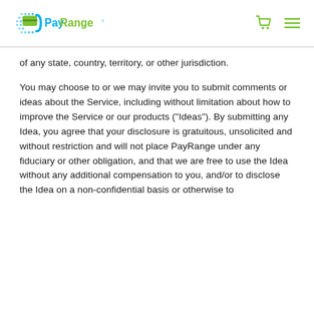PayRange
of any state, country, territory, or other jurisdiction.
You may choose to or we may invite you to submit comments or ideas about the Service, including without limitation about how to improve the Service or our products (“Ideas”). By submitting any Idea, you agree that your disclosure is gratuitous, unsolicited and without restriction and will not place PayRange under any fiduciary or other obligation, and that we are free to use the Idea without any additional compensation to you, and/or to disclose the Idea on a non-confidential basis or otherwise to